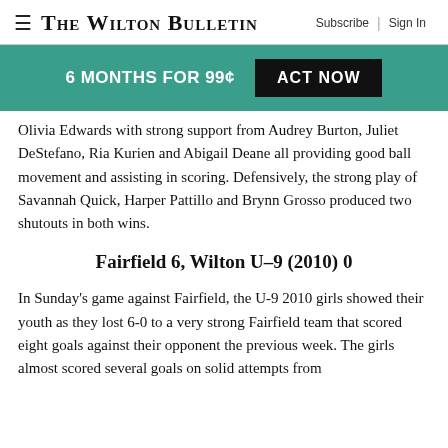The Wilton Bulletin | Subscribe | Sign In
[Figure (infographic): Teal promotional banner: 6 MONTHS FOR 99¢ with black ACT NOW button]
Olivia Edwards with strong support from Audrey Burton, Juliet DeStefano, Ria Kurien and Abigail Deane all providing good ball movement and assisting in scoring. Defensively, the strong play of Savannah Quick, Harper Pattillo and Brynn Grosso produced two shutouts in both wins.
Fairfield 6, Wilton U–9 (2010) 0
In Sunday's game against Fairfield, the U-9 2010 girls showed their youth as they lost 6-0 to a very strong Fairfield team that scored eight goals against their opponent the previous week. The girls almost scored several goals on solid attempts from